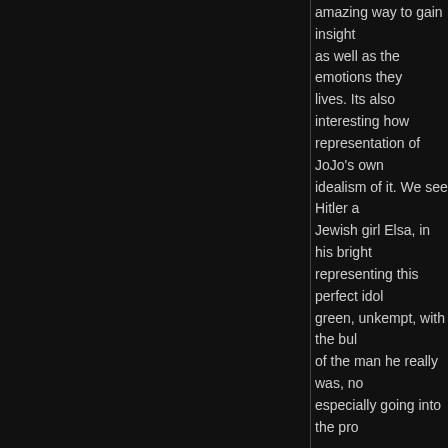amazing way to gain insight as well as the emotions they lives. Its also interesting how representation of JoJo's own idealism of it. We see Hitler a Jewish girl Elsa, in his bright representing this perfect idol green, unkempt, with the bul of the man he really was, no especially going into the pro
Kristyn Lukjaniec
06.05.21 / 3am
Between these three films, I political satire throughout the from a child's perspective be of a child. However, as a res One of the implicit meanings devotion and childhood. Eve one of the reasons it was so Hitler. For a rational adult, th complicated and dynamic ch altered due to the war. His